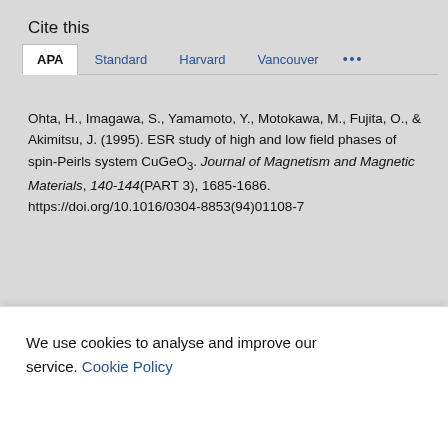Cite this
Ohta, H., Imagawa, S., Yamamoto, Y., Motokawa, M., Fujita, O., & Akimitsu, J. (1995). ESR study of high and low field phases of spin-Peirls system CuGeO3. Journal of Magnetism and Magnetic Materials, 140-144(PART 3), 1685-1686. https://doi.org/10.1016/0304-8853(94)01108-7
We use cookies to analyse and improve our service. Cookie Policy